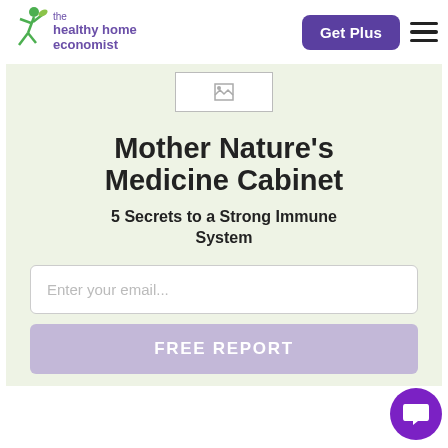the healthy home economist | Get Plus
[Figure (logo): The healthy home economist logo with green jumping figure and purple text]
[Figure (photo): Small broken image placeholder]
Mother Nature's Medicine Cabinet
5 Secrets to a Strong Immune System
Enter your email...
FREE REPORT